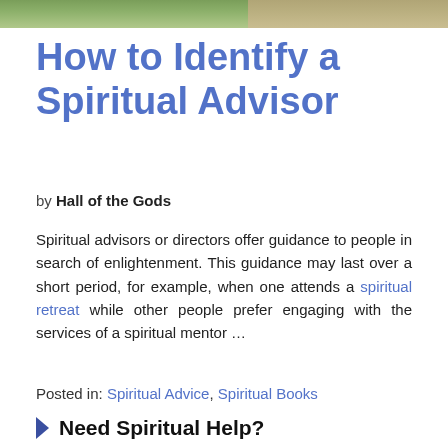[Figure (photo): Partial photo strip showing people outdoors, cropped at top of page]
How to Identify a Spiritual Advisor
by Hall of the Gods
Spiritual advisors or directors offer guidance to people in search of enlightenment. This guidance may last over a short period, for example, when one attends a spiritual retreat while other people prefer engaging with the services of a spiritual mentor …
READ THE REST
Posted in: Spiritual Advice, Spiritual Books
Need Spiritual Help?